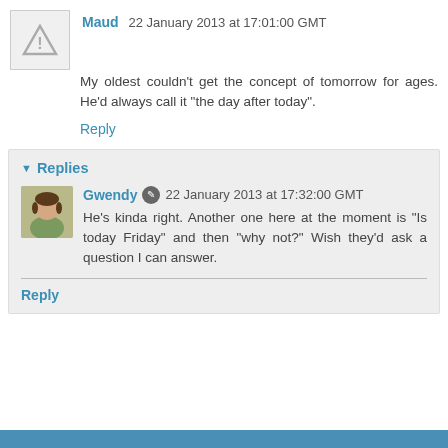[Figure (illustration): Gray warning/avatar icon (triangle with exclamation mark placeholder)]
Maud 22 January 2013 at 17:01:00 GMT
My oldest couldn't get the concept of tomorrow for ages. He'd always call it "the day after today".
Reply
▾ Replies
[Figure (photo): Avatar photo of Gwendy - woman in green top]
Gwendy 🖊 22 January 2013 at 17:32:00 GMT
He's kinda right. Another one here at the moment is "Is today Friday" and then "why not?" Wish they'd ask a question I can answer.
Reply